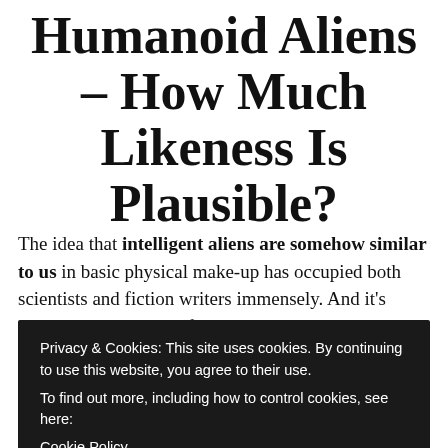Humanoid Aliens – How Much Likeness Is Plausible?
The idea that intelligent aliens are somehow similar to us in basic physical make-up has occupied both scientists and fiction writers immensely. And it's understandable why, after
Privacy & Cookies: This site uses cookies. By continuing to use this website, you agree to their use.
To find out more, including how to control cookies, see here:
Cookie Policy

Close and accept